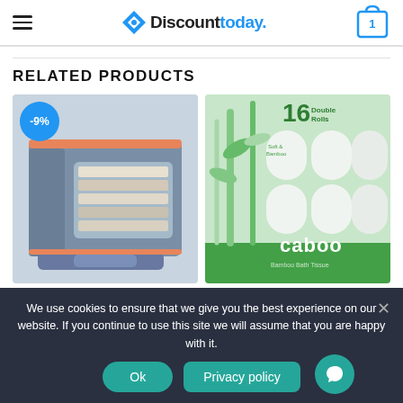Discounttoday. - navigation header with hamburger menu and cart (1 item)
RELATED PRODUCTS
[Figure (photo): Storage box with transparent window showing folded clothes/linens, blue denim-style fabric with orange zipper, -9% discount badge]
[Figure (photo): Caboo Bamboo Bath Tissue 16 Double Rolls product packaging, green and white design]
We use cookies to ensure that we give you the best experience on our website. If you continue to use this site we will assume that you are happy with it.